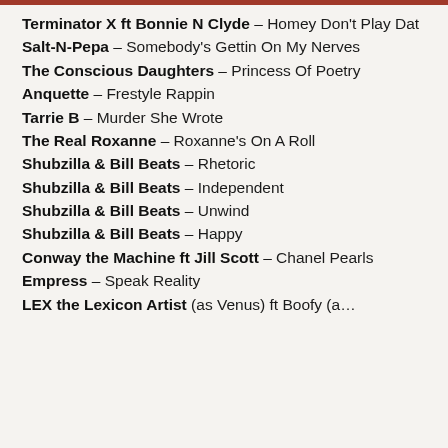Terminator X ft Bonnie N Clyde – Homey Don't Play Dat
Salt-N-Pepa – Somebody's Gettin On My Nerves
The Conscious Daughters – Princess Of Poetry
Anquette – Frestyle Rappin
Tarrie B – Murder She Wrote
The Real Roxanne – Roxanne's On A Roll
Shubzilla & Bill Beats – Rhetoric
Shubzilla & Bill Beats – Independent
Shubzilla & Bill Beats – Unwind
Shubzilla & Bill Beats – Happy
Conway the Machine ft Jill Scott – Chanel Pearls
Empress – Speak Reality
LEX the Lexicon Artist (as Venus) ft Boofy (a…